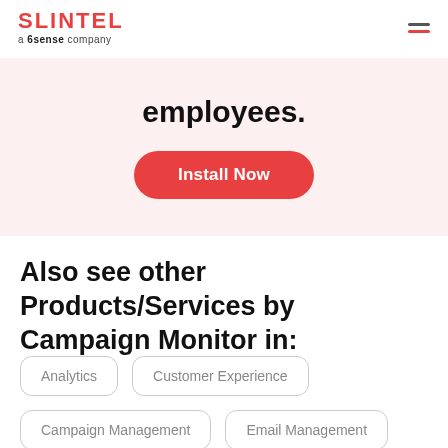SLINTEL a 6sense company
employees.
Install Now
Also see other Products/Services by Campaign Monitor in:
Analytics
Customer Experience
Campaign Management
Email Management